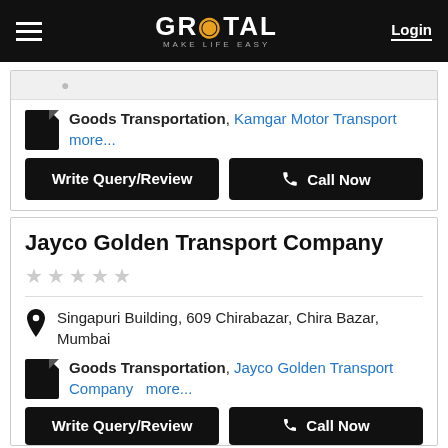GROTAL - MAKE LIFE EASY | Login
Goods Transportation, Kamgar Motor Transport more...
Write Query/Review | Call Now
Jayco Golden Transport Company
★★★★★ (no ratings)
Singapuri Building, 609 Chirabazar, Chira Bazar, Mumbai
Goods Transportation, Jayco Golden Transport Company more...
Write Query/Review | Call Now